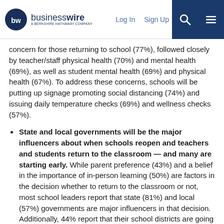businesswire — A BERKSHIRE HATHAWAY COMPANY | Log In | Sign Up
concern for those returning to school (77%), followed closely by teacher/staff physical health (70%) and mental health (69%), as well as student mental health (69%) and physical health (67%). To address these concerns, schools will be putting up signage promoting social distancing (74%) and issuing daily temperature checks (69%) and wellness checks (57%).
State and local governments will be the major influencers about when schools reopen and teachers and students return to the classroom — and many are starting early. While parent preference (43%) and a belief in the importance of in-person learning (50%) are factors in the decision whether to return to the classroom or not, most school leaders report that state (81%) and local (57%) governments are major influencers in that decision. Additionally, 44% report that their school districts are going back before September, compared to 6% considering a December or later return to in-person learning.
Hybrid learning is the most likely class model for students and teachers this year, meaning that schools also need to overcome distance learning challenges. As circumstances